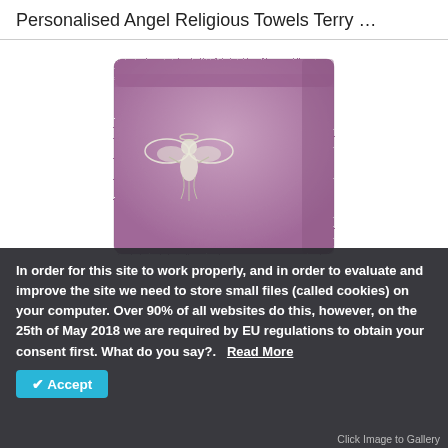Personalised Angel Religious Towels Terry …
[Figure (photo): A folded mauve/purple terry towel with an embroidered white angel design in the centre.]
In order for this site to work properly, and in order to evaluate and improve the site we need to store small files (called cookies) on your computer. Over 90% of all websites do this, however, on the 25th of May 2018 we are required by EU regulations to obtain your consent first. What do you say?.   Read More
✔ Accept
Click Image to Gallery